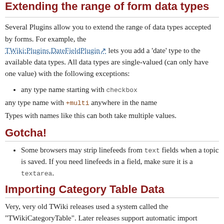Extending the range of form data types
Several Plugins allow you to extend the range of data types accepted by forms. For example, the TWiki:Plugins.DateFieldPlugin lets you add a 'date' type to the available data types. All data types are single-valued (can only have one value) with the following exceptions:
any type name starting with checkbox
any type name with +multi anywhere in the name
Types with names like this can both take multiple values.
Gotcha!
Some browsers may strip linefeeds from text fields when a topic is saved. If you need linefeeds in a field, make sure it is a textarea.
Importing Category Table Data
Very, very old TWiki releases used a system called the "TWikiCategoryTable". Later releases support automatic import of this data.